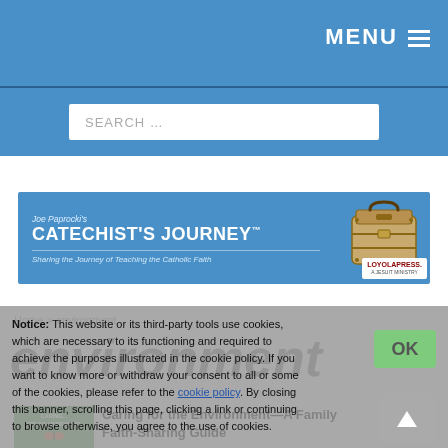MENU ≡
[Figure (screenshot): SEARCH ... input box in blue header bar]
[Figure (illustration): Joe Paprocki's Catechist's Journey banner — Sharing the Journey of Teaching the Catholic Faith, Loyola Press A Jesuit Ministry, with suitcase graphic]
Notice: This website or its third-party tools use cookies, which are necessary to its functioning and required to achieve the purposes illustrated in the cookie policy. If you want to know more or withdraw your consent to all or some of the cookies, please refer to the cookie policy. By closing this banner, scrolling this page, clicking a link or continuing to browse otherwise, you agree to the use of cookies.
Home > environment
environment
[Figure (photo): Caring for the Environment book cover thumbnail with butterfly]
Caring for the Environment—A Family Faith-Sharing Guide